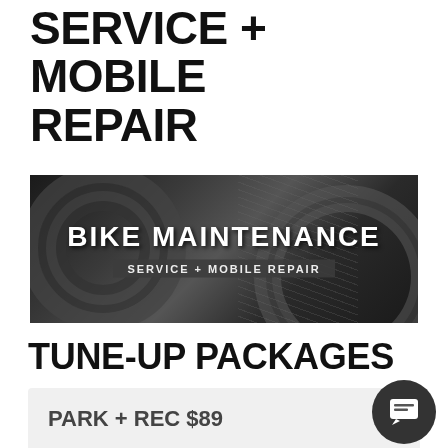SERVICE + MOBILE REPAIR
[Figure (photo): Black and white photo of bicycle gears/chain with overlaid text 'BIKE MAINTENANCE' and subtitle 'SERVICE + MOBILE REPAIR']
TUNE-UP PACKAGES
PARK + REC $89
LOCAL CIRCUIT $109